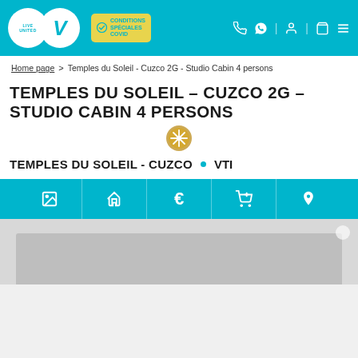LIVE UNITED V | CONDITIONS SPÉCIALES COVID | Navigation icons
Home page > Temples du Soleil - Cuzco 2G - Studio Cabin 4 persons
TEMPLES DU SOLEIL – CUZCO 2G – STUDIO CABIN 4 PERSONS
TEMPLES DU SOLEIL - CUZCO • VTI
[Figure (screenshot): Navigation icon bar with image, home, euro, cart, and location pin icons on teal background]
[Figure (photo): Bottom partial view of a photo area showing a light gray interior room]